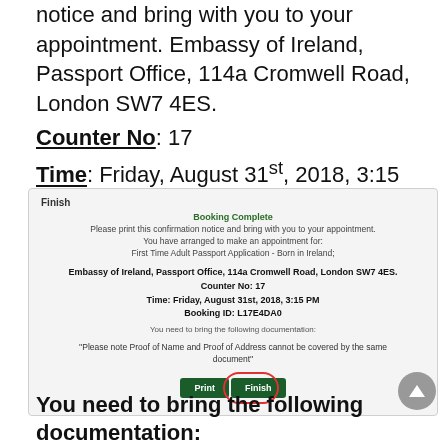notice and bring with you to your appointment. Embassy of Ireland, Passport Office, 114a Cromwell Road, London SW7 4ES.
Counter No: 17
Time: Friday, August 31st, 2018, 3:15 PM
Booking ID: L17E4DA0
[Figure (screenshot): Screenshot of a booking confirmation web page showing 'Finish' tab, 'Booking Complete' in green, appointment details for Embassy of Ireland Passport Office, with Print and Finish buttons. The Finish button is circled in red.]
You need to bring the following documentation: